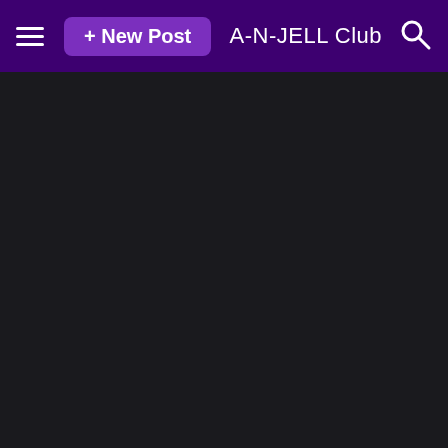≡ + New Post   A-N-JELL Club 🔍
[Figure (screenshot): Dark background content area below the header navigation bar]